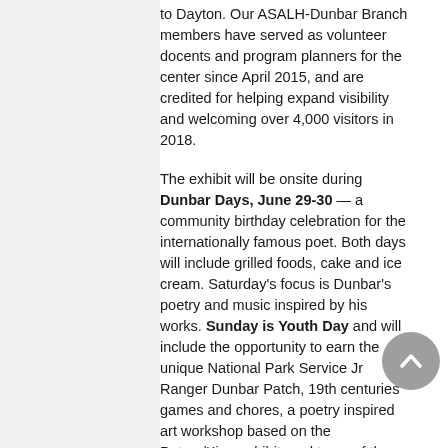to Dayton. Our ASALH-Dunbar Branch members have served as volunteer docents and program planners for the center since April 2015, and are credited for helping expand visibility and welcoming over 4,000 visitors in 2018.
The exhibit will be onsite during Dunbar Days, June 29-30 — a community birthday celebration for the internationally famous poet. Both days will include grilled foods, cake and ice cream. Saturday's focus is Dunbar's poetry and music inspired by his works. Sunday is Youth Day and will include the opportunity to earn the unique National Park Service Jr Ranger Dunbar Patch, 19th centuries games and chores, a poetry inspired art workshop based on the Peters/King exhibit, and tours of the Dunbar House — which in 1938 became the first state memorial dedicated to an African American in the entire United States.
The Dunbar Center is open Friday through Sunday, 10am to 4pm, with the last House tour